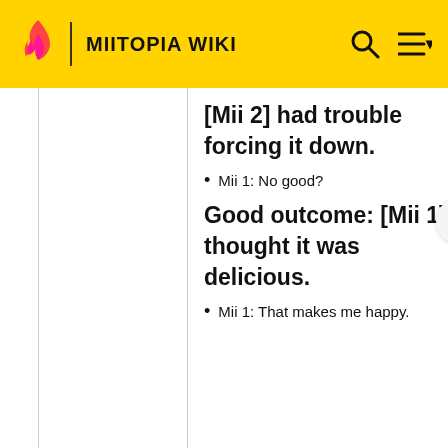MIITOPIA WIKI
[Mii 2] had trouble forcing it down.
Mii 1: No good?
Good outcome: [Mii 1] thought it was delicious.
Mii 1: That makes me happy.